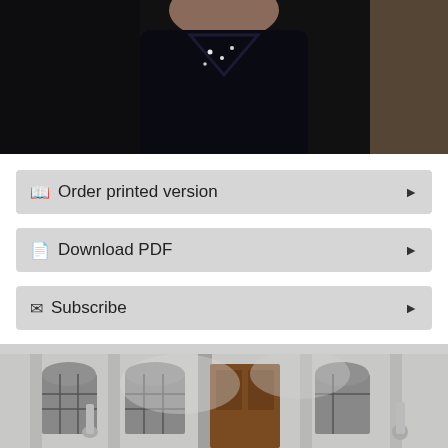[Figure (photo): Portrait photo of a person wearing a dark/black top, cropped to show upper body and partial face against a dark background]
Order printed version
Download PDF
Subscribe
[Figure (photo): Black and white photograph of a classical stone building facade with arched windows, ornate carvings, a wooden door, and a statue visible in the foreground]